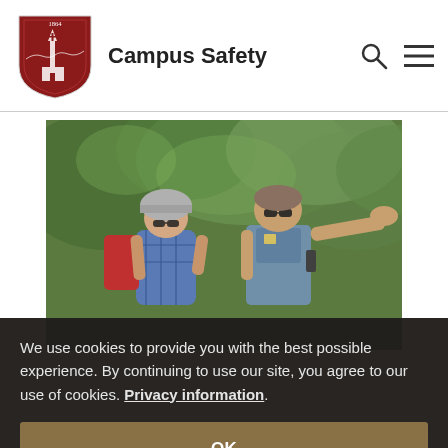Campus Safety
[Figure (photo): A campus safety officer in uniform gesturing/pointing with one arm extended, wearing sunglasses, and a person on a bicycle wearing a helmet and plaid shirt, green trees in background.]
We use cookies to provide you with the best possible experience. By continuing to use our site, you agree to our use of cookies. Privacy information.
OK